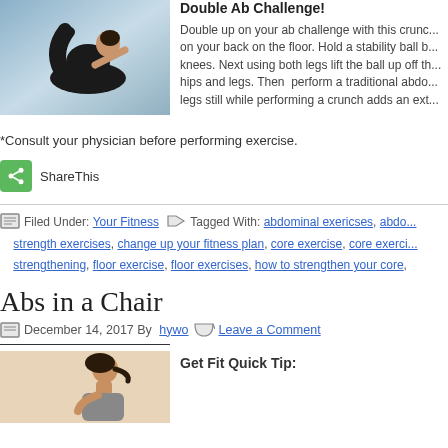[Figure (photo): Person performing a boat pose/crunch exercise on floor, wearing black workout clothes]
Double Ab Challenge!
Double up on your ab challenge with this crunch on your back on the floor. Hold a stability ball between your knees. Next using both legs lift the ball up off the hips and legs. Then perform a traditional abdominal crunch. Keeping your legs still while performing a crunch adds an extra challenge.
*Consult your physician before performing exercise.
ShareThis
Filed Under: Your Fitness  Tagged With: abdominal exericses, abdominal strength exercises, change up your fitness plan, core exercise, core exercise strengthening, floor exercise, floor exercises, how to strengthen your core,
Abs in a Chair
December 14, 2017 By hywo  Leave a Comment
[Figure (photo): Person sitting in profile view, woman with dark hair in ponytail]
Get Fit Quick Tip: